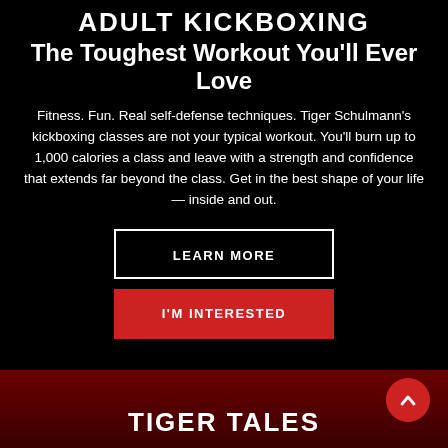ADULT KICKBOXING
The Toughest Workout You'll Ever Love
Fitness. Fun. Real self-defense techniques. Tiger Schulmann's kickboxing classes are not your typical workout. You'll burn up to 1,000 calories a class and leave with a strength and confidence that extends far beyond the class. Get in the best shape of your life — inside and out.
LEARN MORE
I'M INTERESTED
TIGER TALES